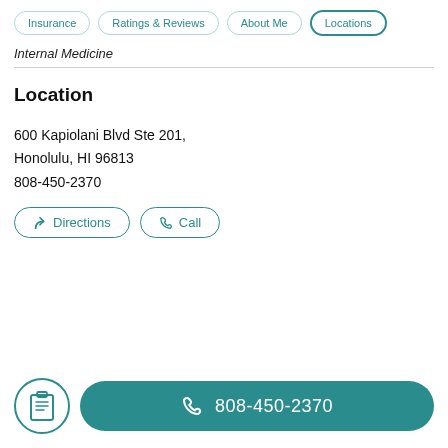Insurance | Ratings & Reviews | About Me | Locations
Internal Medicine
Location
600 Kapiolani Blvd Ste 201, Honolulu, HI 96813
808-450-2370
Directions  Call
808-450-2370